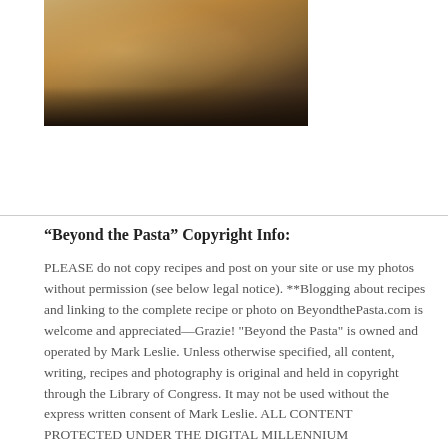[Figure (photo): Partial photo of a dining table with food dishes, bowls, and Italian-style food items in warm amber/brown tones]
“Beyond the Pasta” Copyright Info:
PLEASE do not copy recipes and post on your site or use my photos without permission (see below legal notice). **Blogging about recipes and linking to the complete recipe or photo on BeyondthePasta.com is welcome and appreciated—Grazie! "Beyond the Pasta" is owned and operated by Mark Leslie. Unless otherwise specified, all content, writing, recipes and photography is original and held in copyright through the Library of Congress. It may not be used without the express written consent of Mark Leslie. ALL CONTENT PROTECTED UNDER THE DIGITAL MILLENNIUM COPYRIGHT ACT. CONTENT THEFT, EITHER PRINT OR ELECTRONIC, IS A FEDERAL OFFENSE. © Copyright 2010-2022 - Mark Leslie - Beyond the Pasta - All Rights Reserved.